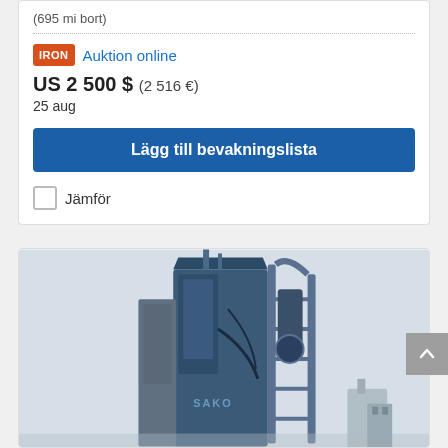(695 mi bort)
[Figure (logo): IronPlanet/Iron orange logo badge]
Auktion online
US 2 500 $ (2 516 €)
25 aug
Lägg till bevakningslista
Jämför
[Figure (photo): Large blue industrial machine (looks like a SAKO grain/seed processor or similar) photographed from ground level against a pale sky, with a metal cage/guard visible on the right side]